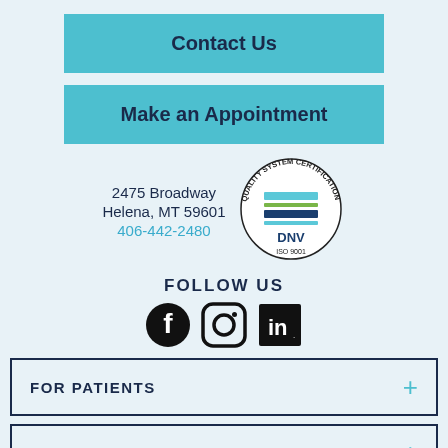Contact Us
Make an Appointment
2475 Broadway
Helena, MT 59601
406-442-2480
[Figure (logo): DNV Quality System Certification ISO 9001 circular badge with colored horizontal bars]
FOLLOW US
[Figure (infographic): Social media icons: Facebook, Instagram, LinkedIn]
FOR PATIENTS
FOR PROFESSIONALS